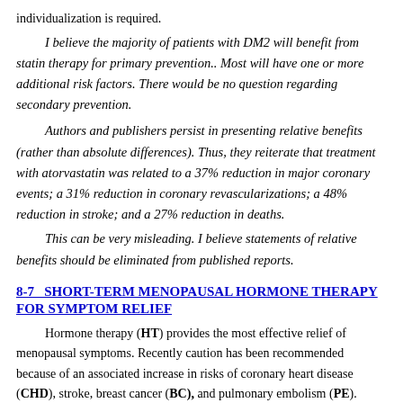individualization is required.
I believe the majority of patients with DM2 will benefit from statin therapy for primary prevention.. Most will have one or more additional risk factors. There would be no question regarding secondary prevention.
Authors and publishers persist in presenting relative benefits (rather than absolute differences). Thus, they reiterate that treatment with atorvastatin was related to a 37% reduction in major coronary events; a 31% reduction in coronary revascularizations; a 48% reduction in stroke; and a 27% reduction in deaths.
This can be very misleading. I believe statements of relative benefits should be eliminated from published reports.
8-7   SHORT-TERM MENOPAUSAL HORMONE THERAPY FOR SYMPTOM RELIEF
Hormone therapy (HT) provides the most effective relief of menopausal symptoms. Recently caution has been recommended because of an associated increase in risks of coronary heart disease (CHD), stroke, breast cancer (BC), and pulmonary embolism (PE). However, the average risk is very low — 7 additional cases of CHD events, 8 more